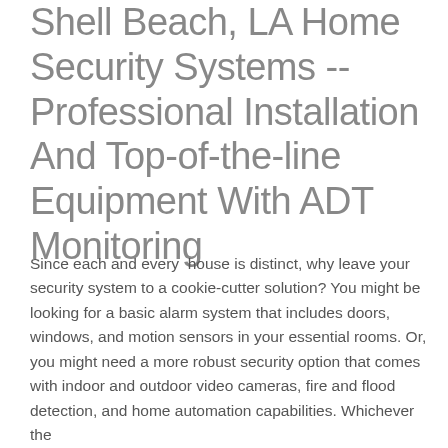Shell Beach, LA Home Security Systems -- Professional Installation And Top-of-the-line Equipment With ADT Monitoring
Since each and every  house is distinct, why leave your security system to a cookie-cutter solution? You might be looking for a basic alarm system that includes doors, windows, and motion sensors in your essential rooms. Or, you might need a more robust security option that comes with indoor and outdoor video cameras, fire and flood detection, and home automation capabilities. Whichever the